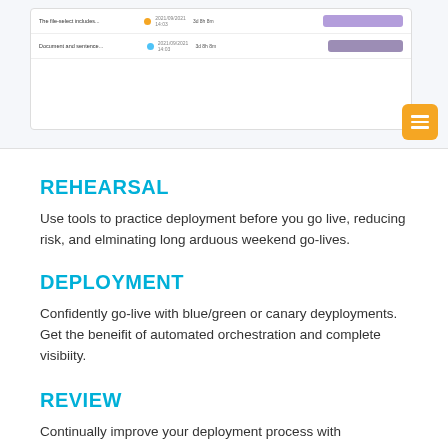[Figure (screenshot): Screenshot of a deployment tool UI showing rows with file/document entries, colored dots (orange, blue), dates (2021/09/2021 14:03), durations, and purple progress bars on the right side. An orange hamburger menu button is shown at bottom right.]
REHEARSAL
Use tools to practice deployment before you go live, reducing risk, and elminating long arduous weekend go-lives.
DEPLOYMENT
Confidently go-live with blue/green or canary deyployments. Get the beneifit of automated orchestration and complete visibiity.
REVIEW
Continually improve your deployment process with